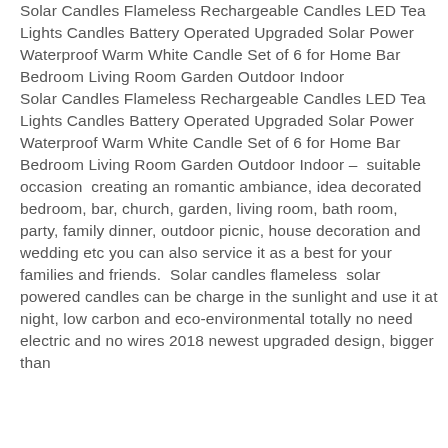Solar Candles Flameless Rechargeable Candles LED Tea Lights Candles Battery Operated Upgraded Solar Power Waterproof Warm White Candle Set of 6 for Home Bar Bedroom Living Room Garden Outdoor Indoor
Solar Candles Flameless Rechargeable Candles LED Tea Lights Candles Battery Operated Upgraded Solar Power Waterproof Warm White Candle Set of 6 for Home Bar Bedroom Living Room Garden Outdoor Indoor –  suitable occasion  creating an romantic ambiance, idea decorated bedroom, bar, church, garden, living room, bath room, party, family dinner, outdoor picnic, house decoration and wedding etc you can also service it as a best for your families and friends.  Solar candles flameless  solar powered candles can be charge in the sunlight and use it at night, low carbon and eco-environmental totally no need electric and no wires 2018 newest upgraded design, bigger than